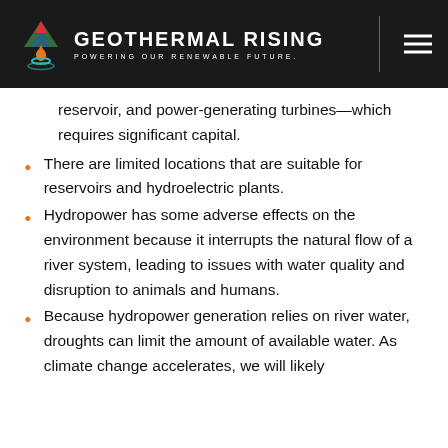GEOTHERMAL RISING — POWERING OUR RENEWABLE FUTURE.
reservoir, and power-generating turbines—which requires significant capital.
There are limited locations that are suitable for reservoirs and hydroelectric plants.
Hydropower has some adverse effects on the environment because it interrupts the natural flow of a river system, leading to issues with water quality and disruption to animals and humans.
Because hydropower generation relies on river water, droughts can limit the amount of available water. As climate change accelerates, we will likely